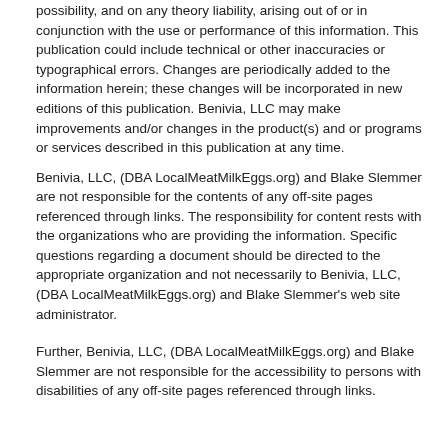damages whatsoever, including, without limitation, those resulting from loss of use, data or profits, whether or not advised of the possibility, and on any theory liability, arising out of or in conjunction with the use or performance of this information. This publication could include technical or other inaccuracies or typographical errors. Changes are periodically added to the information herein; these changes will be incorporated in new editions of this publication. Benivia, LLC may make improvements and/or changes in the product(s) and or programs or services described in this publication at any time.
Benivia, LLC, (DBA LocalMeatMilkEggs.org) and Blake Slemmer are not responsible for the contents of any off-site pages referenced through links. The responsibility for content rests with the organizations who are providing the information. Specific questions regarding a document should be directed to the appropriate organization and not necessarily to Benivia, LLC, (DBA LocalMeatMilkEggs.org) and Blake Slemmer's web site administrator.
Further, Benivia, LLC, (DBA LocalMeatMilkEggs.org) and Blake Slemmer are not responsible for the accessibility to persons with disabilities of any off-site pages referenced through links.